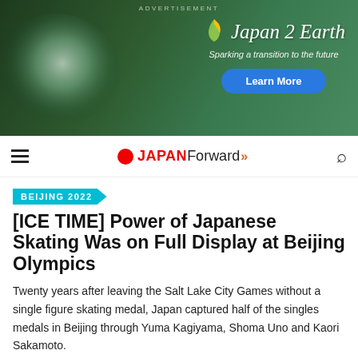[Figure (illustration): Advertisement banner for Japan 2 Earth with dark green nature background showing a glass globe, a stylized leaf/hummingbird logo, the text 'Japan 2 Earth', tagline 'Sparking a transition to the future', and a blue 'Learn More' button.]
JAPAN Forward
BEIJING 2022
[ICE TIME] Power of Japanese Skating Was on Full Display at Beijing Olympics
Twenty years after leaving the Salt Lake City Games without a single figure skating medal, Japan captured half of the singles medals in Beijing through Yuma Kagiyama, Shoma Uno and Kaori Sakamoto.